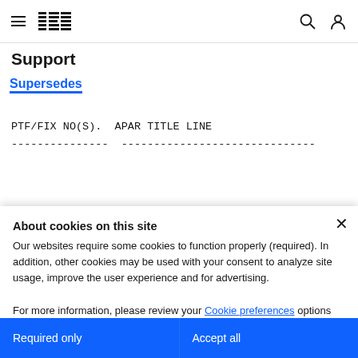IBM Support
Supersedes
PTF/FIX NO(S).  APAR TITLE LINE
---------------  ------------------------------
About cookies on this site
Our websites require some cookies to function properly (required). In addition, other cookies may be used with your consent to analyze site usage, improve the user experience and for advertising.

For more information, please review your Cookie preferences options and IBM's privacy statement.
Required only
Accept all